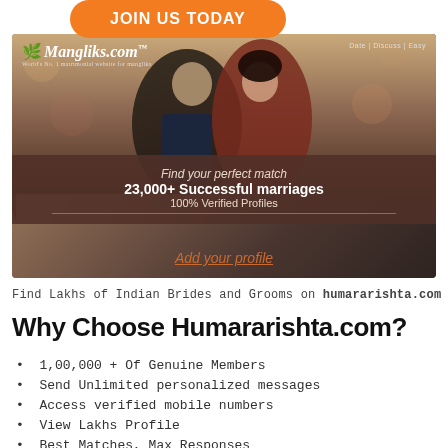[Figure (advertisement): JOIN US TODAY orange button at top, Mangliks.com matrimonial website banner ad with couple photo, ribbon with text 'Find your perfect match', '23,000+ Successful marriages', '100% Verified Profiles', and 'Add your profile' link]
Find Lakhs of Indian Brides and Grooms on humararishta.com
Why Choose Humararishta.com?
1,00,000 + Of Genuine Members
Send Unlimited personalized messages
Access verified mobile numbers
View Lakhs Profile
Best Matches, Max Responses